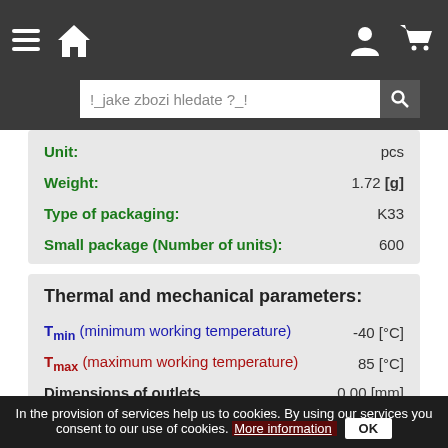[Figure (screenshot): Navigation bar with hamburger menu, home icon, user icon, and cart icon on dark background]
[Figure (screenshot): Search bar with placeholder text '!_jake zbozi hledate ?_!']
| Property | Value |
| --- | --- |
| Unit: | pcs |
| Weight: | 1.72 [g] |
| Type of packaging: | K33 |
| Small package (Number of units): | 600 |
Thermal and mechanical parameters:
| Parameter | Value |
| --- | --- |
| Tmin (minimum working temperature) | -40 [°C] |
| Tmax (maximum working temperature) | 85 [°C] |
| Dimensions of outlets | 0.00 [mm] |
In the provision of services help us to cookies. By using our services you consent to our use of cookies. More information OK